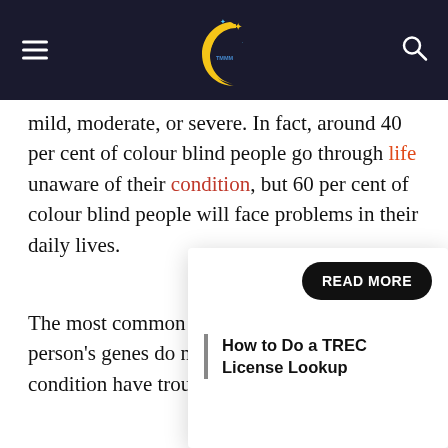Navigation header with logo (crescent moon with stars), hamburger menu, and search icon
mild, moderate, or severe. In fact, around 40 per cent of colour blind people go through life unaware of their condition, but 60 per cent of colour blind people will face problems in their daily lives.
The most common typ... person's genes do no... condition have trouble...
[Figure (other): READ MORE button (black pill-shaped button with white text)]
How to Do a TREC License Lookup